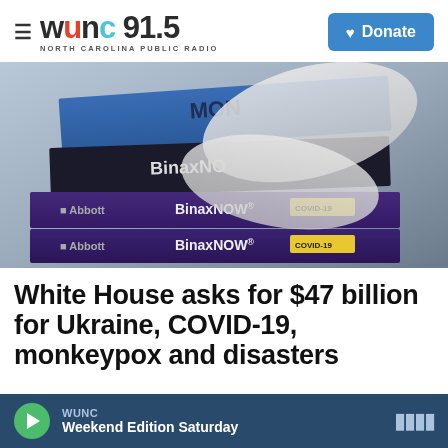WUNC 91.5 NORTH CAROLINA PUBLIC RADIO | Donate
[Figure (photo): Gloved hands holding BinaxNOW COVID-19 rapid test boxes by Abbott]
White House asks for $47 billion for Ukraine, COVID-19, monkeypox and disasters
WUNC | Weekend Edition Saturday